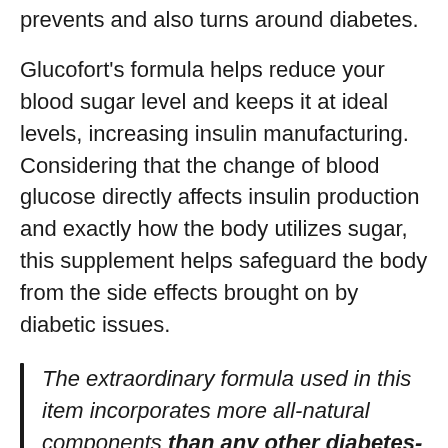prevents and also turns around diabetes.
Glucofort's formula helps reduce your blood sugar level and keeps it at ideal levels, increasing insulin manufacturing. Considering that the change of blood glucose directly affects insulin production and exactly how the body utilizes sugar, this supplement helps safeguard the body from the side effects brought on by diabetic issues.
The extraordinary formula used in this item incorporates more all-natural components than any other diabetes-related supplement on the marketplace. The product consists of powerful anti-oxidants that purify your body while offering toughness and also managing your blood sugar level degrees.